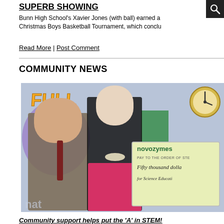SUPERB SHOWING
Bunn High School's Xavier Jones (with ball) earned a Christmas Boys Basketball Tournament, which conclu
Read More | Post Comment
COMMUNITY NEWS
[Figure (photo): Two people (a man in a suit and a woman in a black top and pink skirt) holding a large check from Novozymes for Fifty thousand dollars for Science Education, posed in front of a colorful educational backdrop with the word FULL visible]
Community support helps put the 'A' in STEM!